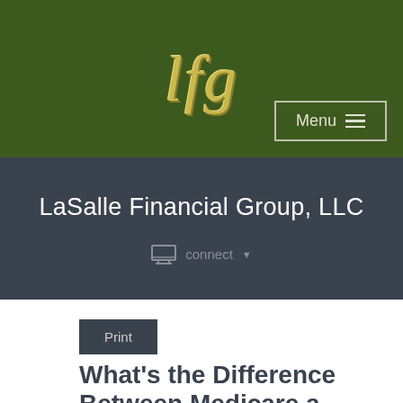[Figure (logo): LFG italic script logo in gold/yellow on dark green background]
Menu ≡
LaSalle Financial Group, LLC
connect ▼
Print
What's the Difference Between Medicare and